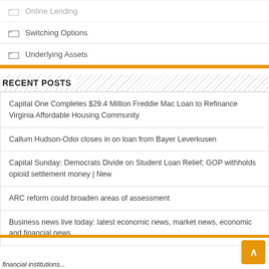Online Lending
Switching Options
Underlying Assets
RECENT POSTS
Capital One Completes $29.4 Million Freddie Mac Loan to Refinance Virginia Affordable Housing Community
Callum Hudson-Odoi closes in on loan from Bayer Leverkusen
Capital Sunday: Democrats Divide on Student Loan Relief; GOP withholds opioid settlement money | New
ARC reform could broaden areas of assessment
Business news live today: latest economic news, market news, economic and financial news
financial institutions...